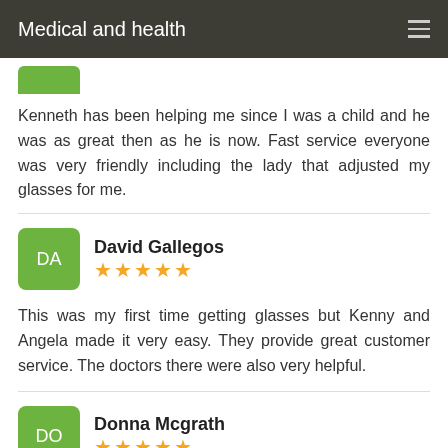Medical and health
[Figure (other): Partial green avatar square at top of first review (cropped)]
Kenneth has been helping me since I was a child and he was as great then as he is now. Fast service everyone was very friendly including the lady that adjusted my glasses for me.
David Gallegos ★★★★★
This was my first time getting glasses but Kenny and Angela made it very easy. They provide great customer service. The doctors there were also very helpful.
Donna Mcgrath ★★★★★